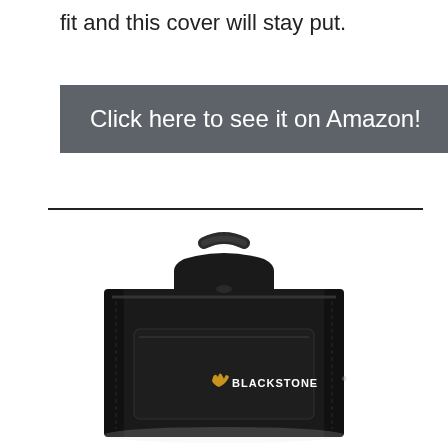fit and this cover will stay put.
Click here to see it on Amazon!
[Figure (photo): Black Blackstone branded carrying bag/case with handle and zipper, shown in product photo on white background]